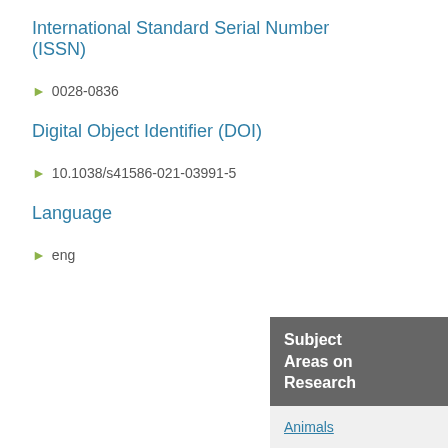International Standard Serial Number (ISSN)
0028-0836
Digital Object Identifier (DOI)
10.1038/s41586-021-03991-5
Language
eng
Subject Areas on Research
Animals